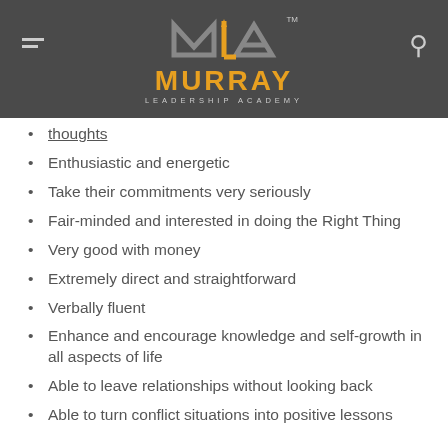[Figure (logo): Murray Leadership Academy logo with stylized MLA letters and orange MURRAY text on dark gray header bar]
thoughts (partial, underlined)
Enthusiastic and energetic
Take their commitments very seriously
Fair-minded and interested in doing the Right Thing
Very good with money
Extremely direct and straightforward
Verbally fluent
Enhance and encourage knowledge and self-growth in all aspects of life
Able to leave relationships without looking back
Able to turn conflict situations into positive lessons (partial)